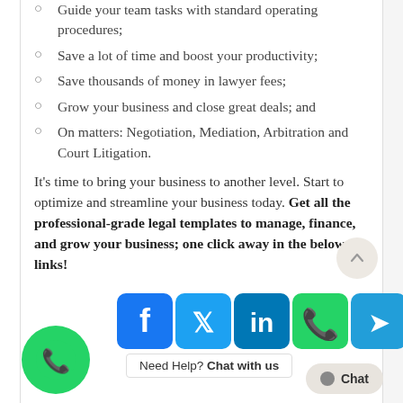Guide your team tasks with standard operating procedures;
Save a lot of time and boost your productivity;
Save thousands of money in lawyer fees;
Grow your business and close great deals; and
On matters: Negotiation, Mediation, Arbitration and Court Litigation.
It's time to bring your business to another level. Start to optimize and streamline your business today. Get all the professional-grade legal templates to manage, finance, and grow your business; one click away in the below links!